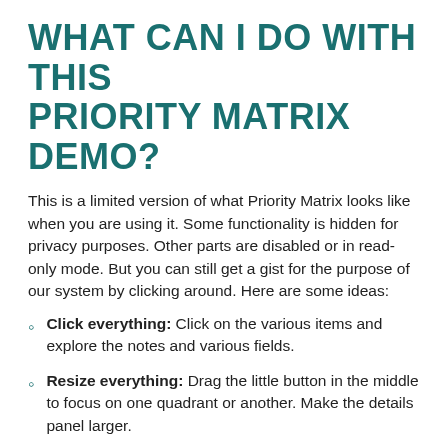WHAT CAN I DO WITH THIS PRIORITY MATRIX DEMO?
This is a limited version of what Priority Matrix looks like when you are using it. Some functionality is hidden for privacy purposes. Other parts are disabled or in read-only mode. But you can still get a gist for the purpose of our system by clicking around. Here are some ideas:
Click everything: Click on the various items and explore the notes and various fields.
Resize everything: Drag the little button in the middle to focus on one quadrant or another. Make the details panel larger.
Change the display mode: Use the drop-down menu to alternate between matrix, list, calendar or Gantt chart (timeline) view mode.
ARE THERE ANY LIMITATIONS TO THIS LIVE